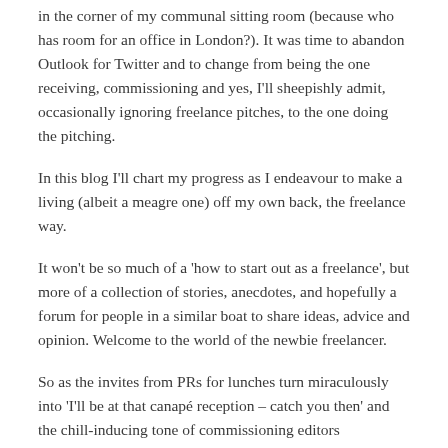in the corner of my communal sitting room (because who has room for an office in London?). It was time to abandon Outlook for Twitter and to change from being the one receiving, commissioning and yes, I'll sheepishly admit, occasionally ignoring freelance pitches, to the one doing the pitching.
In this blog I'll chart my progress as I endeavour to make a living (albeit a meagre one) off my own back, the freelance way.
It won't be so much of a 'how to start out as a freelance', but more of a collection of stories, anecdotes, and hopefully a forum for people in a similar boat to share ideas, advice and opinion. Welcome to the world of the newbie freelancer.
So as the invites from PRs for lunches turn miraculously into 'I'll be at that canapé reception – catch you then' and the chill-inducing tone of commissioning editors everywhere sings out